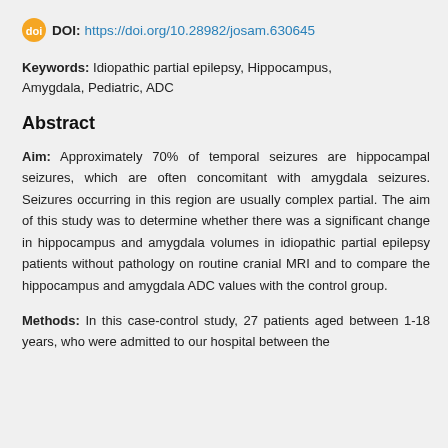DOI: https://doi.org/10.28982/josam.630645
Keywords: Idiopathic partial epilepsy, Hippocampus, Amygdala, Pediatric, ADC
Abstract
Aim: Approximately 70% of temporal seizures are hippocampal seizures, which are often concomitant with amygdala seizures. Seizures occurring in this region are usually complex partial. The aim of this study was to determine whether there was a significant change in hippocampus and amygdala volumes in idiopathic partial epilepsy patients without pathology on routine cranial MRI and to compare the hippocampus and amygdala ADC values with the control group.
Methods: In this case-control study, 27 patients aged between 1-18 years, who were admitted to our hospital between the